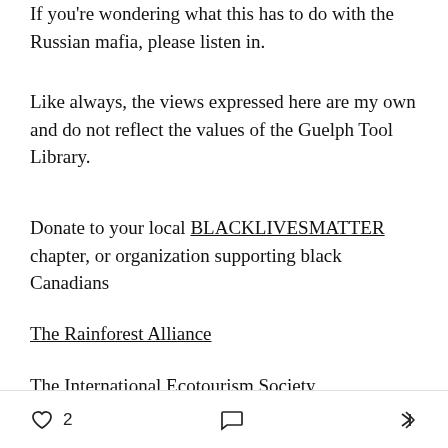If you're wondering what this has to do with the Russian mafia, please listen in.
Like always, the views expressed here are my own and do not reflect the values of the Guelph Tool Library.
Donate to your local BLACKLIVESMATTER chapter, or organization supporting black Canadians
The Rainforest Alliance
The International Ecotourism Society
Subscribe to the Crow's Nest
By Thirza · Launched 2 years ago
Run by the Guelph Tool Library. Talking to friends and fa…
♡ 2  ○  ↗